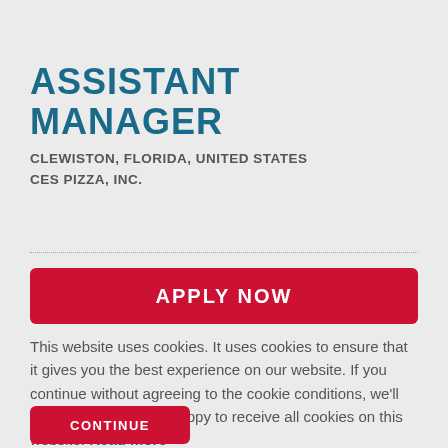ASSISTANT MANAGER
CLEWISTON, FLORIDA, UNITED STATES
CES PIZZA, INC.
APPLY NOW
This website uses cookies. It uses cookies to ensure that it gives you the best experience on our website. If you continue without agreeing to the cookie conditions, we'll assume that you are happy to receive all cookies on this website. Read more
CONTINUE